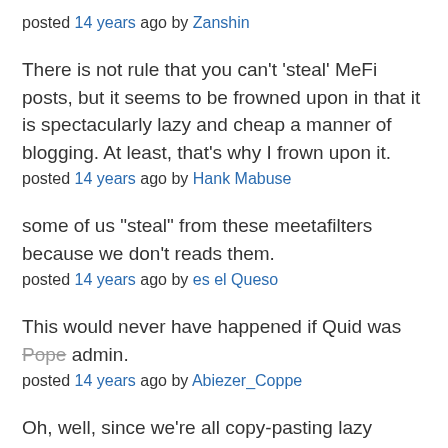posted 14 years ago by Zanshin
There is not rule that you can't 'steal' MeFi posts, but it seems to be frowned upon in that it is spectacularly lazy and cheap a manner of blogging. At least, that's why I frown upon it.
posted 14 years ago by Hank Mabuse
some of us "steal" from these meetafilters because we don't reads them.
posted 14 years ago by es el Queso
This would never have happened if Quid was Pope admin.
posted 14 years ago by Abiezer_Coppe
Oh, well, since we're all copy-pasting lazy bastards,